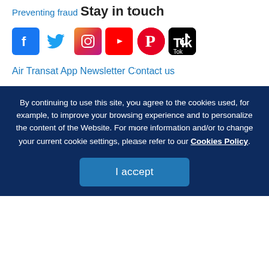Preventing fraud
Stay in touch
[Figure (other): Row of social media icons: Facebook, Twitter, Instagram, YouTube, Pinterest, TikTok]
Air Transat App
Newsletter
Contact us
By continuing to use this site, you agree to the cookies used, for example, to improve your browsing experience and to personalize the content of the Website. For more information and/or to change your current cookie settings, please refer to our Cookies Policy.